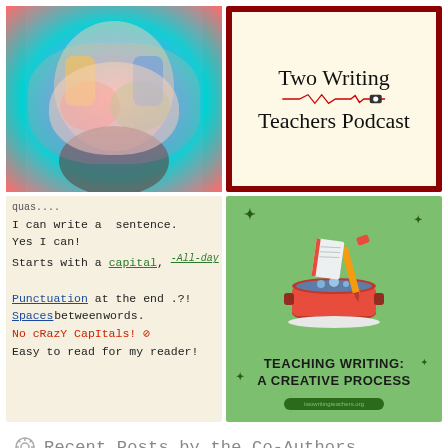[Figure (photo): Child with colorful painted hands covering face, vibrant paint colors]
[Figure (logo): Two Writing Teachers Podcast logo on cream background with dark red border, heartbeat line graphic]
[Figure (photo): Handwritten anchor chart: I can write a sentence. Yes I can! Starts with a capital, -All-day, Punctuation at the end .?!, Spaces between words, No cRazY CapItals! (no symbol), Easy to read for my reader!]
[Figure (illustration): Green background with red cooking pot illustration, pencil, notebook, eraser. Text: TEACHING WRITING: A CREATIVE PROCESS]
Recent Posts by the Co-Authors
Stacey Shubitz